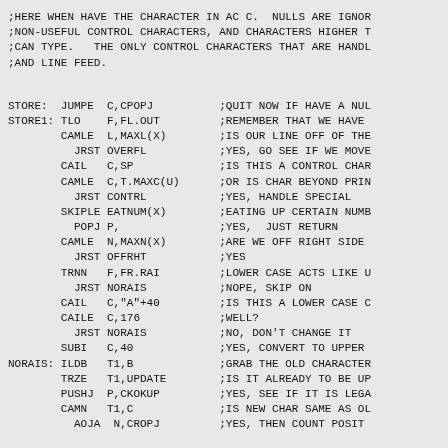;HERE WHEN HAVE THE CHARACTER IN AC C.  NULLS ARE IGNORED,
;NON-USEFUL CONTROL CHARACTERS, AND CHARACTERS HIGHER THAN WE
;CAN TYPE.   THE ONLY CONTROL CHARACTERS THAT ARE HANDLED ARE TAB
;AND LINE FEED.
STORE:  JUMPE  C,CPOPJ          ;QUIT NOW IF HAVE A NULL
STORE1: TLO    F,FL.OUT         ;REMEMBER THAT WE HAVE OUTPUT
        CAMLE  L,MAXL(X)        ;IS OUR LINE OFF OF THE SCREEN?
          JRST OVERFL           ;YES, GO SEE IF WE MOVE IT
        CAIL   C,SP             ;IS THIS A CONTROL CHAR?
        CAMLE  C,T.MAXC(U)      ;OR IS CHAR BEYOND PRINTABLE?
          JRST CONTRL           ;YES, HANDLE SPECIAL
        SKIPLE EATNUM(X)        ;EATING UP CERTAIN NUMBER OF CHARS?
          POPJ P,               ;YES, JUST RETURN
        CAMLE  N,MAXN(X)        ;ARE WE OFF RIGHT SIDE OF SCREEN?
          JRST OFFRHT           ;YES
        TRNN   F,FR.RAI         ;LOWER CASE ACTS LIKE UPPER CASE?
          JRST NORAIS           ;NOPE, SKIP ON
        CAIL   C,"A"+40         ;IS THIS A LOWER CASE CHAR?
        CAILE  C,176            ;WELL?
          JRST NORAIS           ;NO, DON'T CHANGE IT
        SUBI   C,40             ;YES, CONVERT TO UPPER CASE
NORAIS: ILDB   T1,B             ;GRAB THE OLD CHARACTER
        TRZE   T1,UPDATE        ;IS IT ALREADY TO BE UPDATED?
        PUSHJ  P,CKOKUP         ;YES, SEE IF IT IS LEGAL
        CAMN   T1,C             ;IS NEW CHAR SAME AS OLD?
          AOJA  N,CROPJ         ;YES, THEN COUNT POSITION